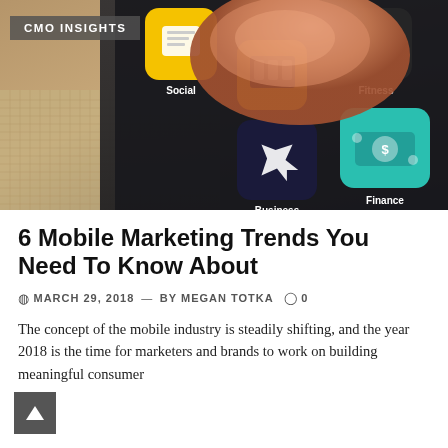[Figure (photo): Close-up photo of a finger pressing on a smartphone screen showing app icons including Business, Finance, Fitness, and Social categories. The image has a 'CMO INSIGHTS' label badge in the top-left corner.]
6 Mobile Marketing Trends You Need To Know About
MARCH 29, 2018 —BY MEGAN TOTKA   0
The concept of the mobile industry is steadily shifting, and the year 2018 is the time for marketers and brands to work on building meaningful consumer